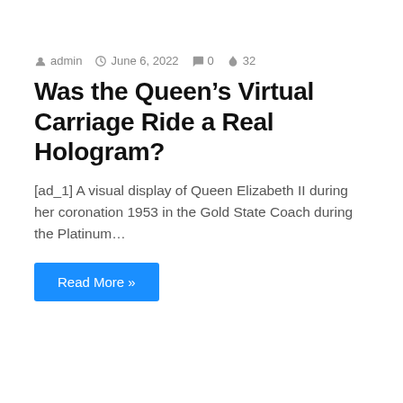admin  June 6, 2022  0  32
Was the Queen’s Virtual Carriage Ride a Real Hologram?
[ad_1] A visual display of Queen Elizabeth II during her coronation 1953 in the Gold State Coach during the Platinum…
Read More »